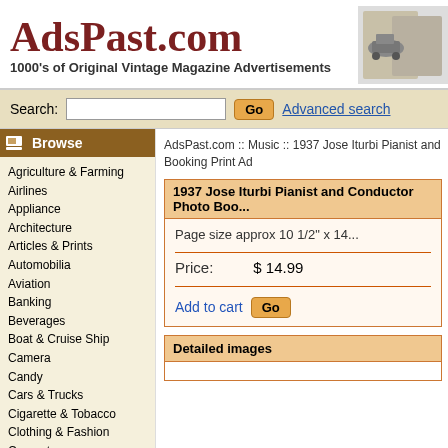AdsPast.com
1000's of Original Vintage Magazine Advertisements
Search:  Go  Advanced search
Browse
Agriculture & Farming
Airlines
Appliance
Architecture
Articles & Prints
Automobilia
Aviation
Banking
Beverages
Boat & Cruise Ship
Camera
Candy
Cars & Trucks
Cigarette & Tobacco
Clothing & Fashion
Computers
Firefighting
Food
Gas & Oil
Health & Beauty
Hotel
Household
Insurance
AdsPast.com :: Music :: 1937 Jose Iturbi Pianist and Conductor Photo Booking Print Ad
1937 Jose Iturbi Pianist and Conductor Photo Boo...
Page size approx 10 1/2" x 14...
Price:   $ 14.99
Add to cart  Go
Detailed images